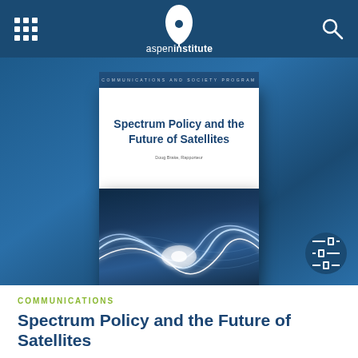Aspen Institute navigation bar with grid menu, logo, and search icon
[Figure (photo): Book cover of 'Spectrum Policy and the Future of Satellites' by Doug Brake, Rapporteur, published by the Aspen Institute Communications and Society Program. The cover shows the title in bold dark blue text on a white background, and the lower portion features abstract glowing wave/signal lines on a dark blue background. The book is displayed against a blue gradient background.]
COMMUNICATIONS
Spectrum Policy and the Future of Satellites
This report explores how best to enable flourishing of satellite operations through effective spectrum policy.